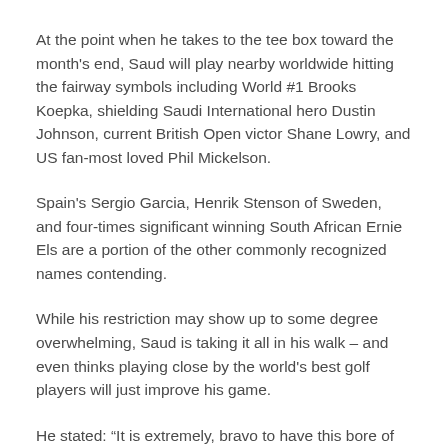At the point when he takes to the tee box toward the month's end, Saud will play nearby worldwide hitting the fairway symbols including World #1 Brooks Koepka, shielding Saudi International hero Dustin Johnson, current British Open victor Shane Lowry, and US fan-most loved Phil Mickelson.
Spain's Sergio Garcia, Henrik Stenson of Sweden, and four-times significant winning South African Ernie Els are a portion of the other commonly recognized names contending.
While his restriction may show up to some degree overwhelming, Saud is taking it all in his walk – and even thinks playing close by the world's best golf players will just improve his game.
He stated: “It is extremely, bravo to have this bore of players playing in the same and Saud is learning all the…